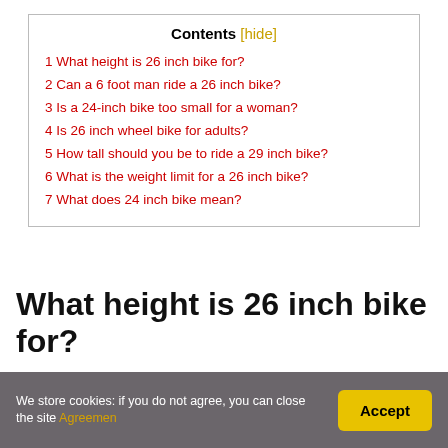Contents [hide]
1 What height is 26 inch bike for?
2 Can a 6 foot man ride a 26 inch bike?
3 Is a 24-inch bike too small for a woman?
4 Is 26 inch wheel bike for adults?
5 How tall should you be to ride a 29 inch bike?
6 What is the weight limit for a 26 inch bike?
7 What does 24 inch bike mean?
What height is 26 inch bike for?
We store cookies: if you do not agree, you can close the site Agreement